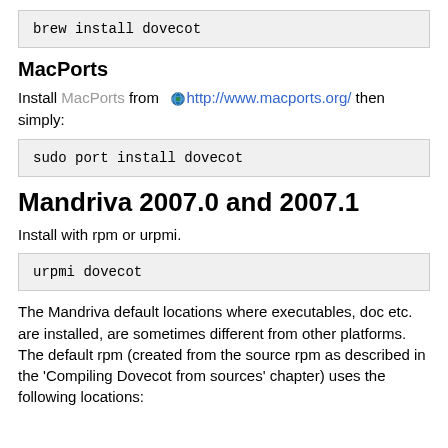brew install dovecot
MacPorts
Install MacPorts from  http://www.macports.org/ then simply:
sudo port install dovecot
Mandriva 2007.0 and 2007.1
Install with rpm or urpmi.
urpmi dovecot
The Mandriva default locations where executables, doc etc. are installed, are sometimes different from other platforms. The default rpm (created from the source rpm as described in the 'Compiling Dovecot from sources' chapter) uses the following locations: